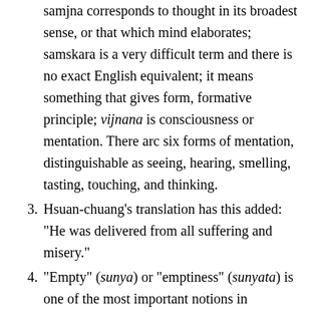samjna corresponds to thought in its broadest sense, or that which mind elaborates; samskara is a very difficult term and there is no exact English equivalent; it means something that gives form, formative principle; vijnana is consciousness or mentation. There arc six forms of mentation, distinguishable as seeing, hearing, smelling, tasting, touching, and thinking.
3. Hsuan-chuang's translation has this added: "He was delivered from all suffering and misery."
4. "Empty" (sunya) or "emptiness" (sunyata) is one of the most important notions in Mahayana philosophy and at the same time the most puzzling for non-Buddhist readers to comprehend. Emptiness does not mean "relativity", or